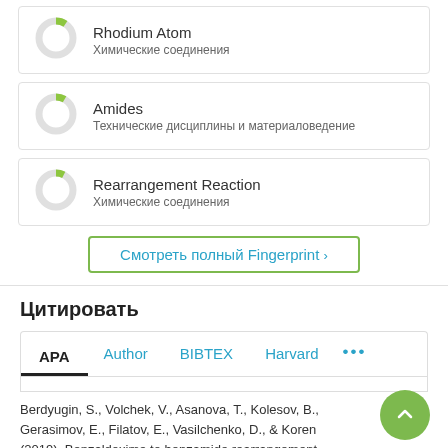[Figure (other): Donut chart icon for Rhodium Atom, partially filled green]
Rhodium Atom
Химические соединения
[Figure (other): Donut chart icon for Amides, partially filled green]
Amides
Технические дисциплины и материаловедение
[Figure (other): Donut chart icon for Rearrangement Reaction, partially filled green]
Rearrangement Reaction
Химические соединения
Смотреть полный Fingerprint ›
Цитировать
APA
Author
BIBTEX
Harvard
···
Berdyugin, S., Volchek, V., Asanova, T., Kolesov, B., Gerasimov, E., Filatov, E., Vasilchenko, D., & Korenev (2019). Benzaldoxime to benzamide rearrangement catalysed by rhodium(III) hydroxocomplexes: The influence of polynuclear species. Applied Catalysis A: General, 587,